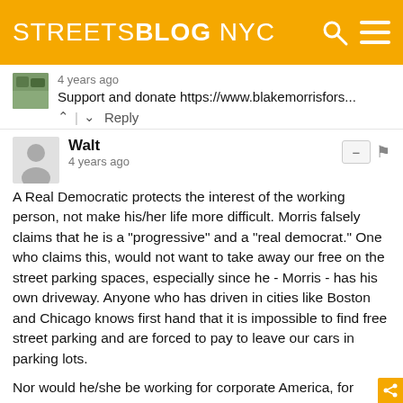STREETSBLOG NYC
4 years ago
Support and donate https://www.blakemorrisfors...
^ | v  Reply
Walt
4 years ago
A Real Democratic protects the interest of the working person, not make his/her life more difficult. Morris falsely claims that he is a "progressive" and a "real democrat." One who claims this, would not want to take away our free on the street parking spaces, especially since he - Morris - has his own driveway. Anyone who has driven in cities like Boston and Chicago knows first hand that it is impossible to find free street parking and are forced to pay to leave our cars in parking lots.

Nor would he/she be working for corporate America, for example, Morris runs a legal collection agency which chases down those who have fallen on hard times and are behind on